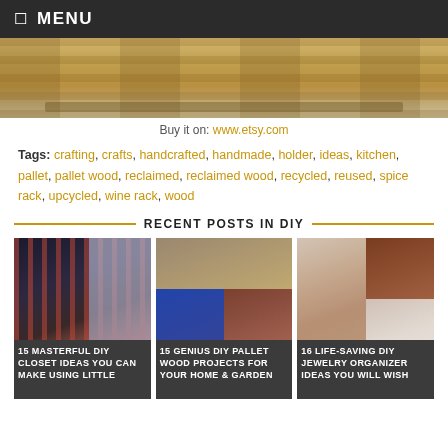☰  MENU
[Figure (photo): Close-up photo of wooden pallet boards on a striped surface]
Buy it on: www.etsy.com
Tags: crafting, crafts, handcrafted, handmade, holder, ideas, kitchen, pallet, pallet wood, reclaimed, reclaimed wood, recycled, reused, spice rack, upcycled, wine rack, wood
RECENT POSTS IN DIY
[Figure (photo): DIY closet organization with hanging clothes and shelving]
15 MASTERFUL DIY CLOSET IDEAS YOU CAN MAKE USING LITTLE
[Figure (photo): DIY pallet wood projects collage for home and garden]
15 GENIUS DIY PALLET WOOD PROJECTS FOR YOUR HOME & GARDEN
[Figure (photo): DIY jewelry organizer with accessories arranged neatly]
16 LIFE-SAVING DIY JEWELRY ORGANIZER IDEAS YOU WILL WISH